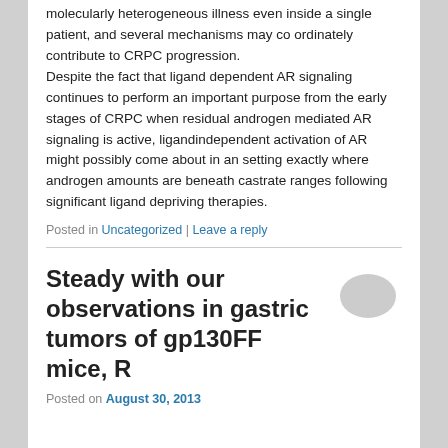molecularly heterogeneous illness even inside a single patient, and several mechanisms may co ordinately contribute to CRPC progression. Despite the fact that ligand dependent AR signaling continues to perform an important purpose from the early stages of CRPC when residual androgen mediated AR signaling is active, ligandindependent activation of AR might possibly come about in an setting exactly where androgen amounts are beneath castrate ranges following significant ligand depriving therapies.
Posted in Uncategorized | Leave a reply
Steady with our observations in gastric tumors of gp130FF mice, R
Posted on August 30, 2013